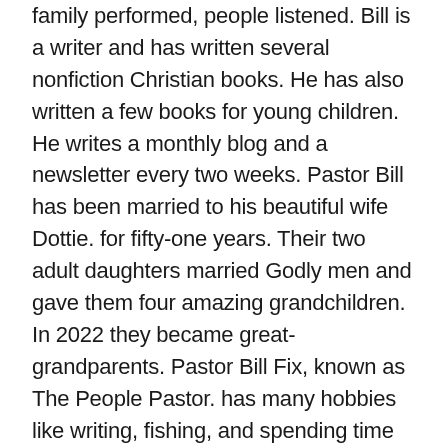family performed, people listened. Bill is a writer and has written several nonfiction Christian books. He has also written a few books for young children. He writes a monthly blog and a newsletter every two weeks. Pastor Bill has been married to his beautiful wife Dottie. for fifty-one years. Their two adult daughters married Godly men and gave them four amazing grandchildren. In 2022 they became great-grandparents. Pastor Bill Fix, known as The People Pastor. has many hobbies like writing, fishing, and spending time with family and friends. He is a popular and frequent officiant at weddings, dedications, and funerals. You can personally email him at fmcbillfix@aol.com or visit his Web page at www.people Pastor.com. View more posts